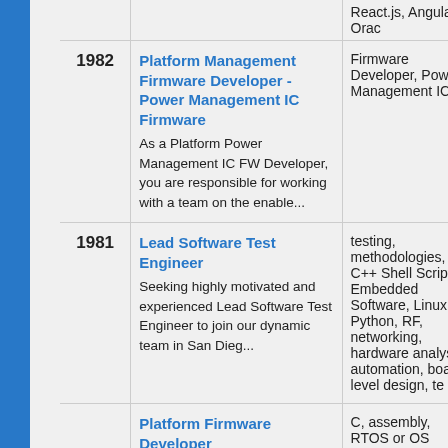| ID | Job Title / Description | Tags |
| --- | --- | --- |
|  | React.js, Angular, Orac... |  |
| 1982 | Platform Management Firmware Developer - Power Management IC Firmware
As a Platform Power Management IC FW Developer, you are responsible for working with a team on the enable... | Firmware Developer, Power, Management IC |
| 1981 | Lead Software Test Engineer
Seeking highly motivated and experienced Lead Software Test Engineer to join our dynamic team in San Dieg... | testing, methodologies, C, C++ Shell Scripts, Embedded Software, Linux, Python, RF, networking, hardware analysis, automation, board-level design, te |
|  | Platform Firmware Developer | C, assembly, RTOS or OS Kernel, open... |